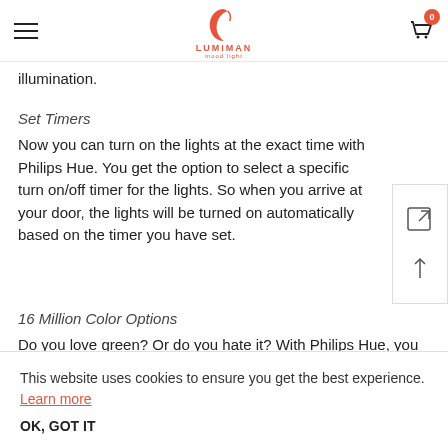LUMIMAN (logo with hamburger menu and cart with badge 0)
illumination.
Set Timers
Now you can turn on the lights at the exact time with Philips Hue. You get the option to select a specific turn on/off timer for the lights. So when you arrive at your door, the lights will be turned on automatically based on the timer you have set.
16 Million Color Options
Do you love green? Or do you hate it? With Philips Hue, you
This website uses cookies to ensure you get the best experience. Learn more
OK, GOT IT